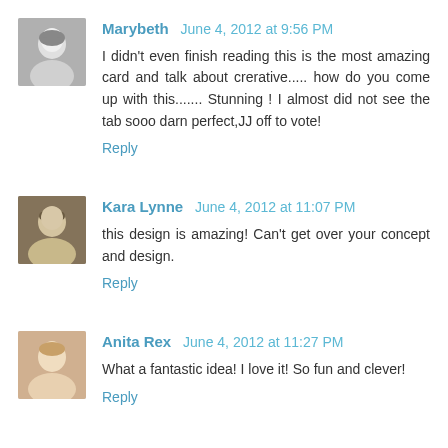[Figure (photo): Small avatar photo of Marybeth, black and white portrait of a woman]
Marybeth June 4, 2012 at 9:56 PM
I didn't even finish reading this is the most amazing card and talk about crerative..... how do you come up with this....... Stunning ! I almost did not see the tab sooo darn perfect,JJ off to vote!
Reply
[Figure (photo): Small avatar photo of Kara Lynne, color portrait of a woman]
Kara Lynne June 4, 2012 at 11:07 PM
this design is amazing! Can't get over your concept and design.
Reply
[Figure (photo): Small avatar photo of Anita Rex, color portrait of a woman]
Anita Rex June 4, 2012 at 11:27 PM
What a fantastic idea! I love it! So fun and clever!
Reply